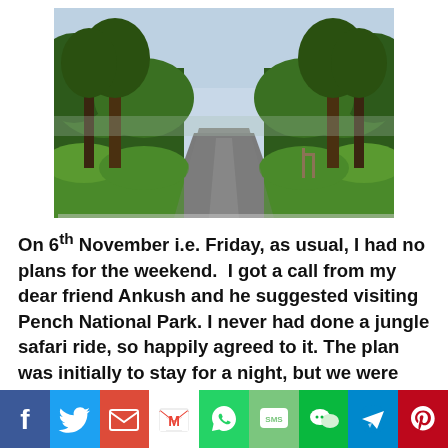[Figure (photo): A narrow paved road cutting through dense green forest/jungle with trees on both sides and sky visible above.]
On 6th November i.e. Friday, as usual, I had no plans for the weekend.  I got a call from my dear friend Ankush and he suggested visiting Pench National Park. I never had done a jungle safari ride, so happily agreed to it. The plan was initially to stay for a night, but we were only 4 people (Ankush, Akash, my
[Figure (infographic): Social media share buttons bar: Facebook, Twitter, Email, Gmail, WhatsApp, SMS, WeChat, Telegram, Pinterest]